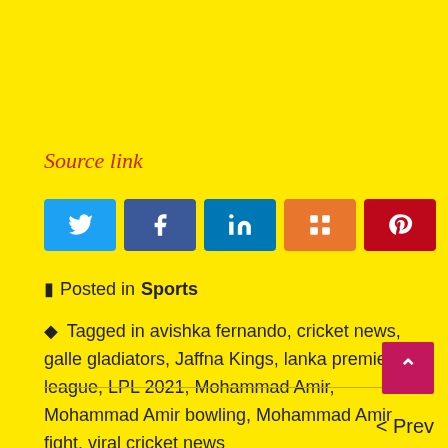Source link
[Figure (infographic): Social sharing buttons: Twitter (blue), Facebook (blue), LinkedIn (dark blue), Mix (orange), Pinterest (red), and share count showing 0 SHARES]
Posted in Sports
Tagged in avishka fernando, cricket news, galle gladiators, Jaffna Kings, lanka premier league, LPL 2021, Mohammad Amir, Mohammad Amir bowling, Mohammad Amir fight, viral cricket news
[Figure (infographic): Scroll-to-top pink button with upward chevron]
< Prev